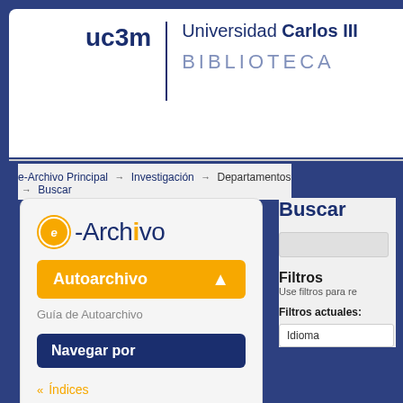[Figure (logo): UC3M Universidad Carlos III de Madrid Biblioteca logo with vertical divider]
e-Archivo Principal → Investigación → Departamentos → Buscar
[Figure (screenshot): e-Archivo portal left panel showing logo, Autoarchivo button, Guía de Autoarchivo link, Navegar por section, Índices and Investigación menu items]
Buscar
Filtros
Use filtros para re
Filtros actuales:
Idioma